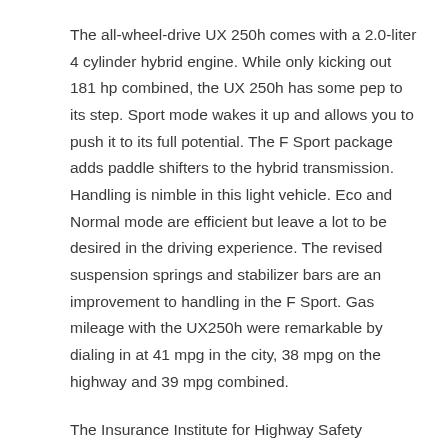The all-wheel-drive UX 250h comes with a 2.0-liter 4 cylinder hybrid engine. While only kicking out 181 hp combined, the UX 250h has some pep to its step. Sport mode wakes it up and allows you to push it to its full potential. The F Sport package adds paddle shifters to the hybrid transmission. Handling is nimble in this light vehicle. Eco and Normal mode are efficient but leave a lot to be desired in the driving experience. The revised suspension springs and stabilizer bars are an improvement to handling in the F Sport. Gas mileage with the UX250h were remarkable by dialing in at 41 mpg in the city, 38 mpg on the highway and 39 mpg combined.
The Insurance Institute for Highway Safety